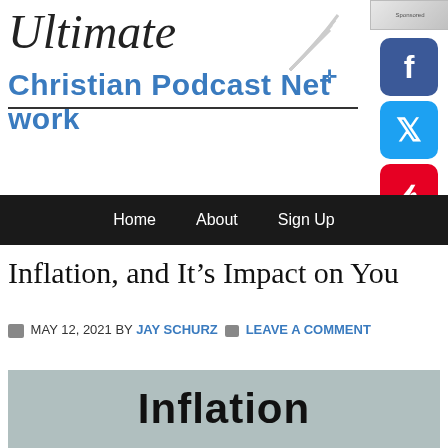[Figure (logo): Ultimate Christian Podcast Network logo with signal/radio waves and cross icon]
[Figure (logo): Facebook social media button (blue square with F)]
[Figure (logo): Twitter social media button (blue square with bird)]
[Figure (logo): Pinterest social media button (red square with P)]
Home   About   Sign Up
Inflation, and It’s Impact on You
MAY 12, 2021 BY JAY SCHURZ   LEAVE A COMMENT
[Figure (illustration): Gray background image with large bold text reading 'Inflation']